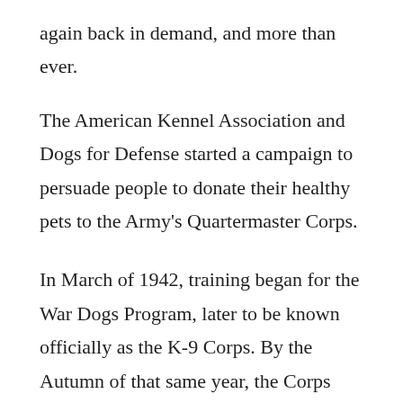again back in demand, and more than ever.
The American Kennel Association and Dogs for Defense started a campaign to persuade people to donate their healthy pets to the Army's Quartermaster Corps.
In March of 1942, training began for the War Dogs Program, later to be known officially as the K-9 Corps. By the Autumn of that same year, the Corps was given the mission of training dogs for not just the Army but also the Marines, the Navy, and the Coast Guard.